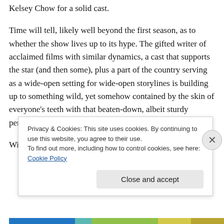Kelsey Chow for a solid cast.
Time will tell, likely well beyond the first season, as to whether the show lives up to its hype. The gifted writer of acclaimed films with similar dynamics, a cast that supports the star (and then some), plus a part of the country serving as a wide-open setting for wide-open storylines is building up to something wild, yet somehow contained by the skin of everyone’s teeth with that beaten-down, albeit sturdy perimeter fence.
Will Yellowstone ever reach the level of brilliance and
Privacy & Cookies: This site uses cookies. By continuing to use this website, you agree to their use.
To find out more, including how to control cookies, see here: Cookie Policy